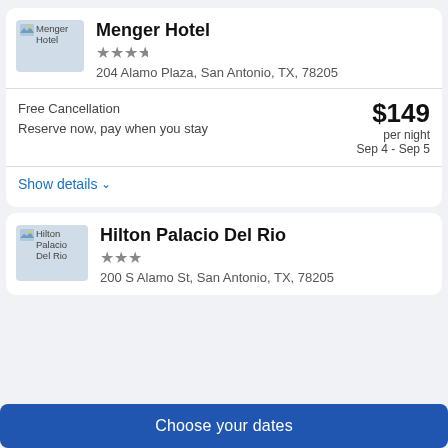Menger Hotel
★★★½
204 Alamo Plaza, San Antonio, TX, 78205
Free Cancellation
Reserve now, pay when you stay
$149 per night
Sep 4 - Sep 5
Show details ∨
Hilton Palacio Del Rio
★★★
200 S Alamo St, San Antonio, TX, 78205
Choose your dates